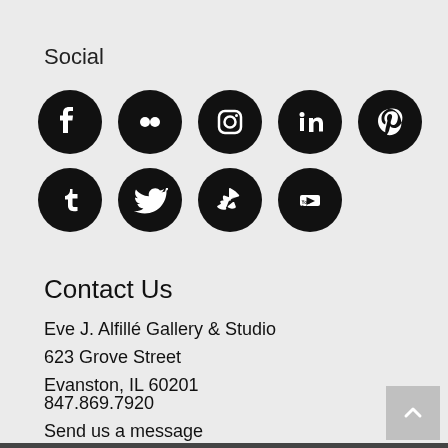Social
[Figure (illustration): Social media icons in black circles: Facebook, Flickr, Instagram, LinkedIn, Pinterest (row 1); Tumblr, Twitter, Yelp, YouTube (row 2)]
Contact Us
Eve J. Alfillé Gallery & Studio
623 Grove Street
Evanston, IL 60201
847.869.7920
Send us a message